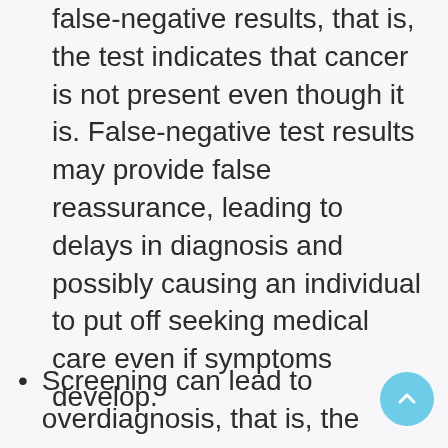false-negative results, that is, the test indicates that cancer is not present even though it is. False-negative test results may provide false reassurance, leading to delays in diagnosis and possibly causing an individual to put off seeking medical care even if symptoms develop.
Screening can lead to overdiagnosis, that is, the